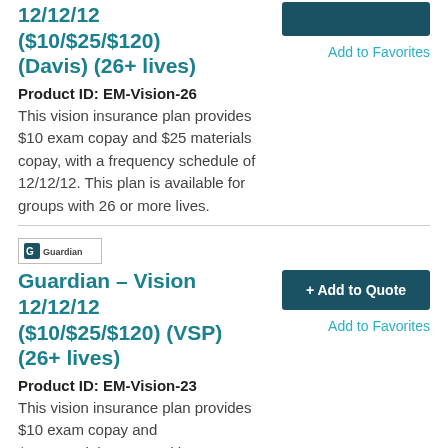12/12/12 ($10/$25/$120) (Davis) (26+ lives)
Add to Favorites
Product ID: EM-Vision-26
This vision insurance plan provides $10 exam copay and $25 materials copay, with a frequency schedule of 12/12/12. This plan is available for groups with 26 or more lives.
[Figure (logo): Guardian insurance company logo]
Guardian – Vision 12/12/12 ($10/$25/$120) (VSP) (26+ lives)
+ Add to Quote
Add to Favorites
Product ID: EM-Vision-23
This vision insurance plan provides $10 exam copay and $25 materials copay, with a